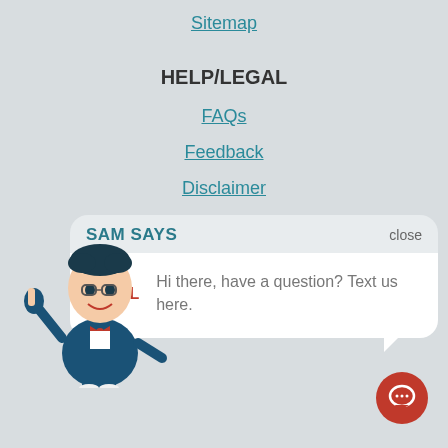Sitemap
HELP/LEGAL
FAQs
Feedback
Disclaimer
Privacy Policy
[Figure (screenshot): Chat popup widget with 'SAM SAYS' header and 'close' button. Contains ARL logo and message: Hi there, have a question? Text us here.]
[Figure (illustration): Cartoon mascot character: a man in a navy suit with red bow tie, glasses, giving a thumbs up]
[Figure (illustration): Red circular chat button icon in bottom right corner]